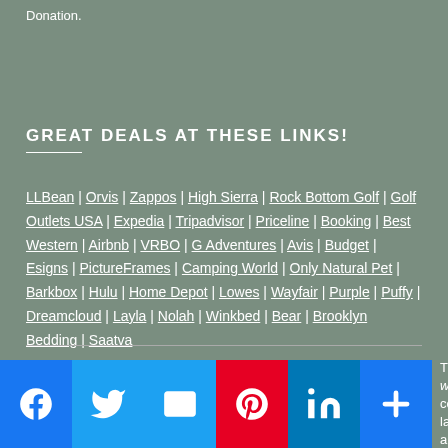Donation.
GREAT DEALS AT THESE LINKS!
LLBean | Orvis | Zappos | High Sierra | Rock Bottom Golf | Golf Outlets USA | Expedia | Tripadvisor | Priceline | Booking | Best Western | Airbnb | VRBO | G Adventures | Avis | Budget | Esigns | PictureFrames | Camping World | Only Natural Pet | Barkbox | Hulu | Home Depot | Lowes | Wayfair | Purple | Puffy | Dreamcloud | Layla | Nolah | Winkbed | Bear | Brooklyn Bedding | Saatva
This work... all copywrite laws apply.